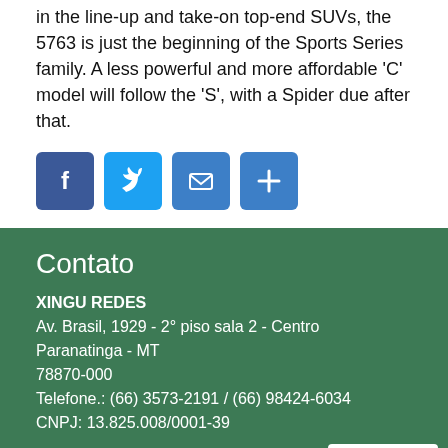in the line-up and take-on top-end SUVs, the 5763 is just the beginning of the Sports Series family. A less powerful and more affordable 'C' model will follow the 'S', with a Spider due after that.
[Figure (other): Social sharing icons: Facebook (blue), Twitter (blue), Email (blue), Share/Plus (blue)]
Contato
XINGU REDES
Av. Brasil, 1929 - 2° piso sala 2 - Centro
Paranatinga - MT
78870-000
Telefone.: (66) 3573-2191 / (66) 98424-6034
CNPJ: 13.825.008/0001-39
Menu
INICIO